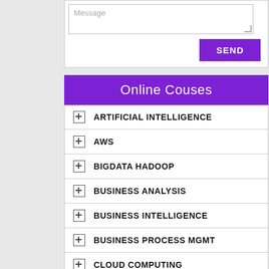[Figure (screenshot): Message textarea input field with placeholder text 'Message' and a resize handle in bottom-right corner]
[Figure (screenshot): SEND button in purple/violet color]
Online Couses
ARTIFICIAL INTELLIGENCE
AWS
BIGDATA HADOOP
BUSINESS ANALYSIS
BUSINESS INTELLIGENCE
BUSINESS PROCESS MGMT
CLOUD COMPUTING
CYBER SECURITY & Network
DATA SCIENCE
DATABASE